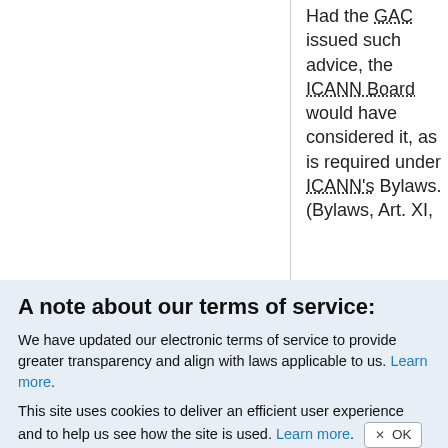Had the GAC issued such advice, the ICANN Board would have considered it, as is required under ICANN's Bylaws. (Bylaws, Art. XI,
A note about our terms of service:
We have updated our electronic terms of service to provide greater transparency and align with laws applicable to us. Learn more.
This site uses cookies to deliver an efficient user experience and to help us see how the site is used. Learn more. OK